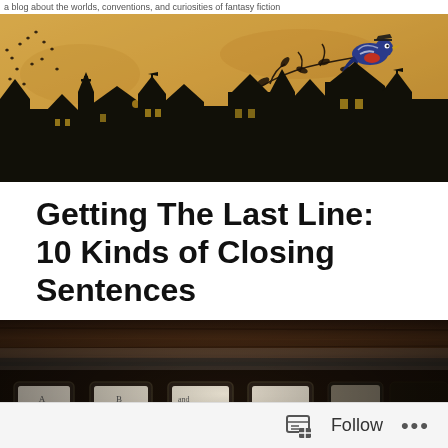a blog about the worlds, conventions, and curiosities of fantasy fiction
[Figure (illustration): Fantasy blog banner illustration: parchment-colored background with black silhouette of a gothic city skyline at the bottom, birds flying in the upper left, and a colorful bird (magpie/jay) perched at the top right connected to a curling vine motif.]
Getting The Last Line: 10 Kinds of Closing Sentences
[Figure (photo): Close-up photo of vintage typewriter keys (A, B, C visible) with a wooden roller bar, dark moody tones.]